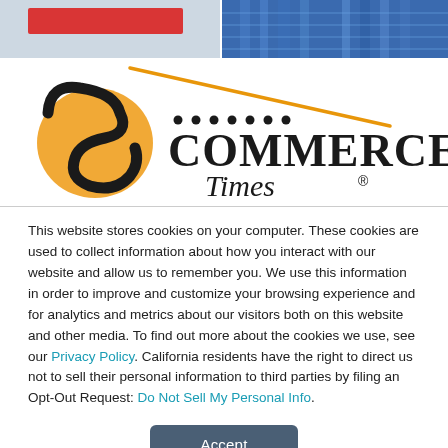[Figure (screenshot): Top banner with red button area on left and blue building photo on right]
[Figure (logo): E-Commerce Times logo — stylized 'E' swirl with orange and black, dotted pattern, COMMERCE text and Times italic text with registered trademark symbol]
This website stores cookies on your computer. These cookies are used to collect information about how you interact with our website and allow us to remember you. We use this information in order to improve and customize your browsing experience and for analytics and metrics about our visitors both on this website and other media. To find out more about the cookies we use, see our Privacy Policy. California residents have the right to direct us not to sell their personal information to third parties by filing an Opt-Out Request: Do Not Sell My Personal Info.
Accept